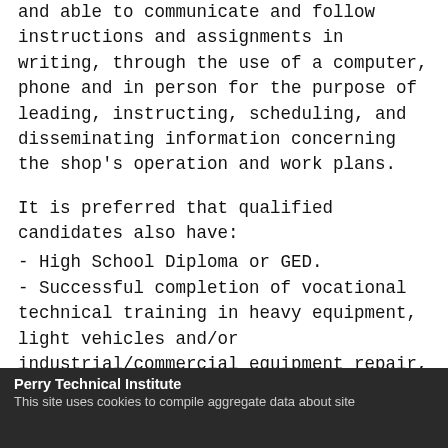and able to communicate and follow instructions and assignments in writing, through the use of a computer, phone and in person for the purpose of leading, instructing, scheduling, and disseminating information concerning the shop's operation and work plans.
It is preferred that qualified candidates also have:
- High School Diploma or GED.
- Successful completion of vocational technical training in heavy equipment, light vehicles and/or industrial/commercial equipment repair, including welding/fabrication.
Perry Technical Institute
This site uses cookies to compile aggregate data about site